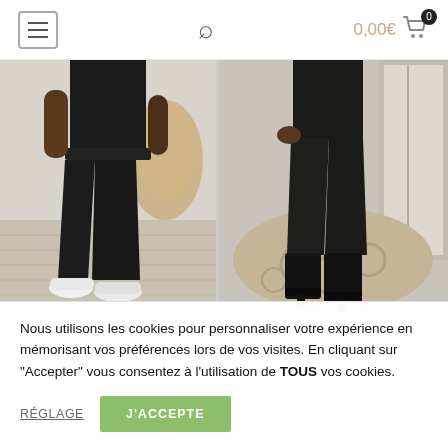Navigation header with hamburger menu, search icon, and cart showing 0,00€ with 0 items
[Figure (photo): Two side-by-side photos of a person wearing black skinny jeans/pants. Left photo shows full-length view with white sneakers on a light wood floor with a rattan chair in background. Right photo shows lower half view with black heeled boots on a round beige rug near a window.]
Nous utilisons les cookies pour personnaliser votre expérience en mémorisant vos préférences lors de vos visites. En cliquant sur "Accepter" vous consentez à l'utilisation de TOUS vos cookies.
RÉGLAGE
J'ACCEPTE